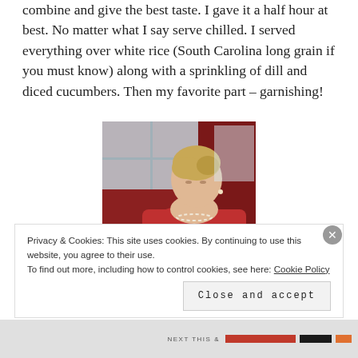combine and give the best taste. I gave it a half hour at best. No matter what I say serve chilled. I served everything over white rice (South Carolina long grain if you must know) along with a sprinkling of dill and diced cucumbers. Then my favorite part – garnishing!
[Figure (photo): A woman in a red cardigan and pearl necklace working in a kitchen, looking down at a counter. The kitchen has a dark red/maroon wall and various items on the counter.]
Privacy & Cookies: This site uses cookies. By continuing to use this website, you agree to their use. To find out more, including how to control cookies, see here: Cookie Policy
Close and accept
NEXT THIS &